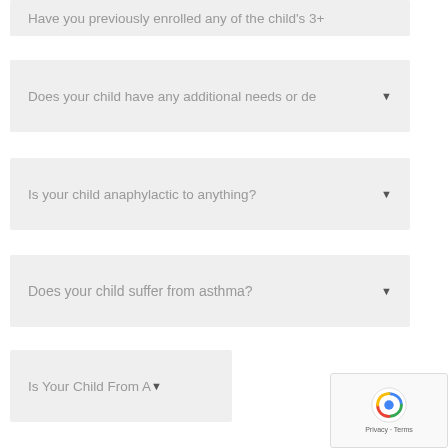Have you previously enrolled any of the child's 3+
Does your child have any additional needs or de▼
Is your child anaphylactic to anything?
Does your child suffer from asthma?
Is Your Child From A▼
Are you an Australian Citizen
Is English Your First Language?
Do You Have Any Child Protection Issues?